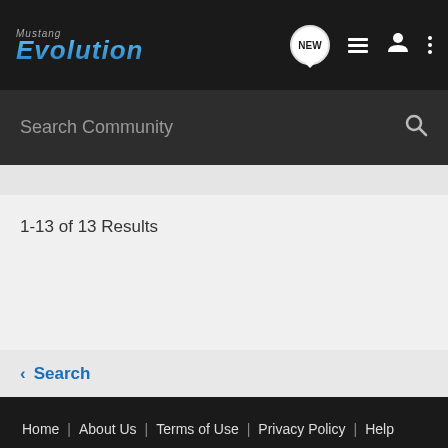Mustang Evolution — NEW [icon] [list icon] [user icon] [menu icon]
Search Community
1-13 of 13 Results
< Search
Home | About Us | Terms of Use | Privacy Policy | Help | Business Directory | Contact Us | Grow Your Business NEW [rss]
VerticalScope Inc., 111 Peter Street, Suite 600, Toronto, Ontario, M5V 2H1, Canada
The Fora platform includes forum software by XenForo